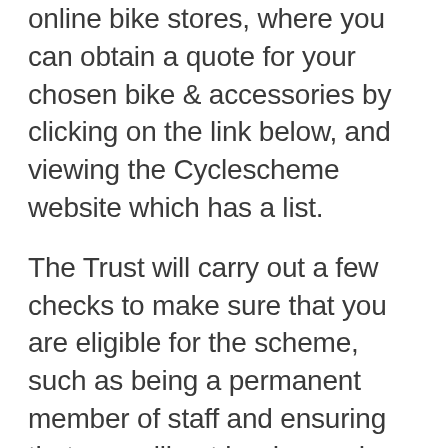online bike stores, where you can obtain a quote for your chosen bike & accessories by clicking on the link below, and viewing the Cyclescheme website which has a list.
The Trust will carry out a few checks to make sure that you are eligible for the scheme, such as being a permanent member of staff and ensuring that you will not be dropped below minimum wage.
Please note that Newcastle Hospitals cyclescheme differentiates from the national cyclescheme. Most staff...